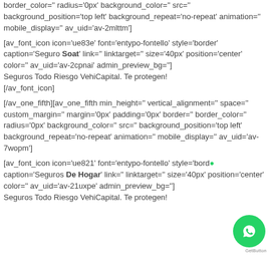border_color='' radius='0px' background_color='' src='' background_position='top left' background_repeat='no-repeat' animation='' mobile_display='' av_uid='av-2mlttm']
[av_font_icon icon='ue83e' font='entypo-fontello' style='border' caption='Seguro Soat' link='' linktarget='' size='40px' position='center' color='' av_uid='av-2cpnai' admin_preview_bg=''] Seguros Todo Riesgo VehiCapital. Te protegen! [/av_font_icon]
[/av_one_fifth][av_one_fifth min_height='' vertical_alignment='' space='' custom_margin='' margin='0px' padding='0px' border='' border_color='' radius='0px' background_color='' src='' background_position='top left' background_repeat='no-repeat' animation='' mobile_display='' av_uid='av-7wopm']
[av_font_icon icon='ue821' font='entypo-fontello' style='bord... caption='Seguros De Hogar' link='' linktarget='' size='40px' position='center' color='' av_uid='av-21uxpe' admin_preview_bg=''] Seguros Todo Riesgo VehiCapital. Te protegen!